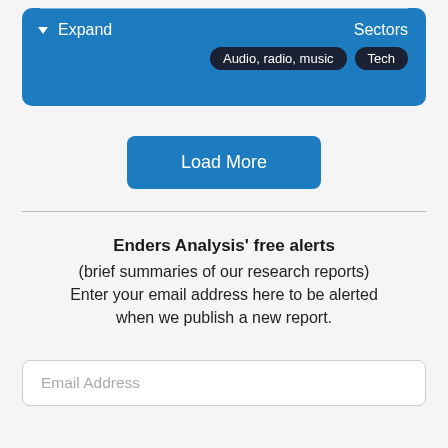[Figure (screenshot): Blue card UI element with horizontal divider line at top, Expand label with dropdown arrow on left, Sectors label on right, and two dark pill-shaped tags: 'Audio, radio, music' and 'Tech']
Load More
Enders Analysis' free alerts (brief summaries of our research reports) Enter your email address here to be alerted when we publish a new report.
Email Address